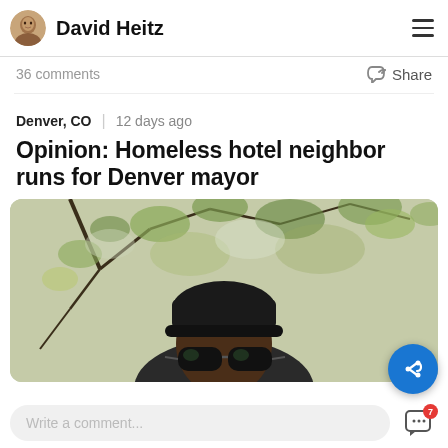David Heitz
36 comments
Share
Denver, CO   12 days ago
Opinion: Homeless hotel neighbor runs for Denver mayor
[Figure (photo): A person wearing a black beanie hat and dark sunglasses, photographed outdoors with tree branches and leaves in the background.]
Write a comment...